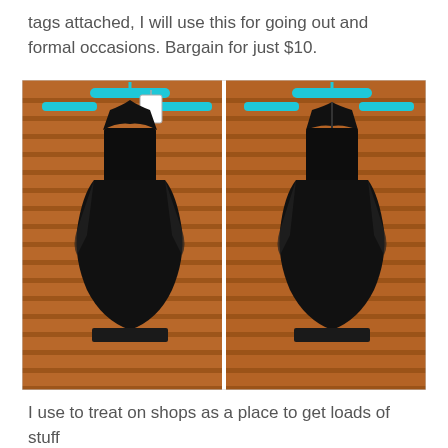tags attached, I will use this for going out and formal occasions. Bargain for just $10.
[Figure (photo): Two photos side by side of a black sleeveless draped dress hanging on a cyan/turquoise hanger against a wooden slatted wall. Left photo shows the front view, right photo shows the back view.]
I use to treat on shops as a place to get loads of stuff